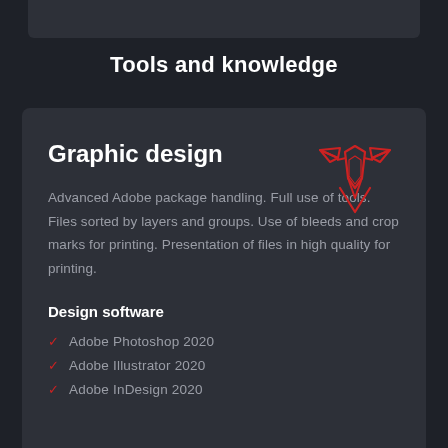Tools and knowledge
Graphic design
[Figure (illustration): Red line art icon of a pen/stylus tool with decorative elements, representing graphic design]
Advanced Adobe package handling. Full use of tools. Files sorted by layers and groups. Use of bleeds and crop marks for printing. Presentation of files in high quality for printing.
Design software
Adobe Photoshop 2020
Adobe Illustrator 2020
Adobe InDesign 2020